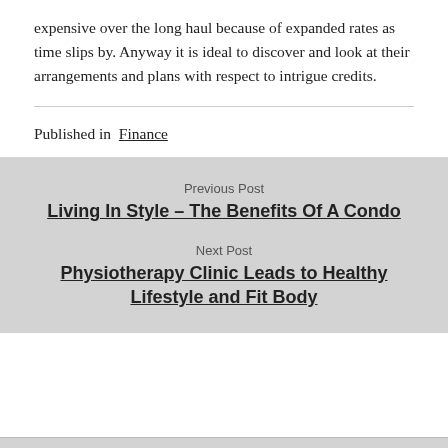expensive over the long haul because of expanded rates as time slips by. Anyway it is ideal to discover and look at their arrangements and plans with respect to intrigue credits.
Published in Finance
Previous Post
Living In Style – The Benefits Of A Condo
Next Post
Physiotherapy Clinic Leads to Healthy Lifestyle and Fit Body